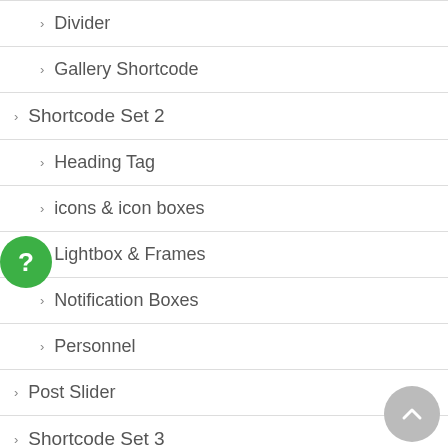Divider
Gallery Shortcode
Shortcode Set 2
Heading Tag
icons & icon boxes
Lightbox & Frames
Notification Boxes
Personnel
Post Slider
Shortcode Set 3